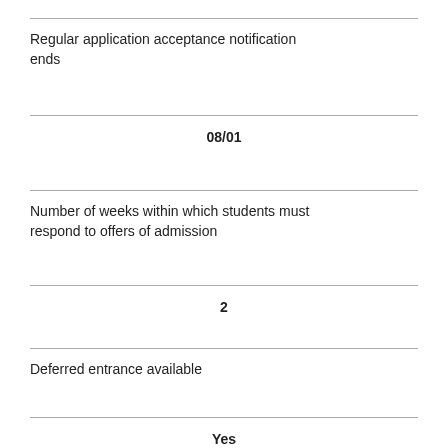Regular application acceptance notification ends
08/01
Number of weeks within which students must respond to offers of admission
2
Deferred entrance available
Yes